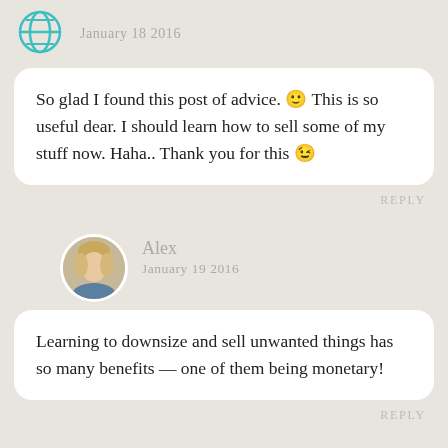[Figure (illustration): Globe/website avatar icon in teal/turquoise color]
January 18 2016
So glad I found this post of advice. 🙂 This is so useful dear. I should learn how to sell some of my stuff now. Haha.. Thank you for this 😉
REPLY
[Figure (photo): Circular avatar photo of a blonde woman named Alex]
Alex
January 19 2016
Learning to downsize and sell unwanted things has so many benefits — one of them being monetary!
REPLY